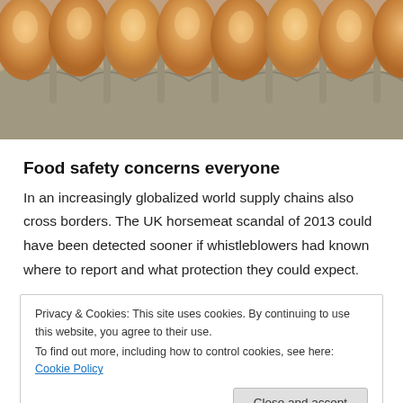[Figure (photo): Close-up photo of brown eggs in an egg carton tray, showing the tops of eggs with cardboard carton dividers visible.]
Food safety concerns everyone
In an increasingly globalized world supply chains also cross borders. The UK horsemeat scandal of 2013 could have been detected sooner if whistleblowers had known where to report and what protection they could expect.
Privacy & Cookies: This site uses cookies. By continuing to use this website, you agree to their use.
To find out more, including how to control cookies, see here: Cookie Policy